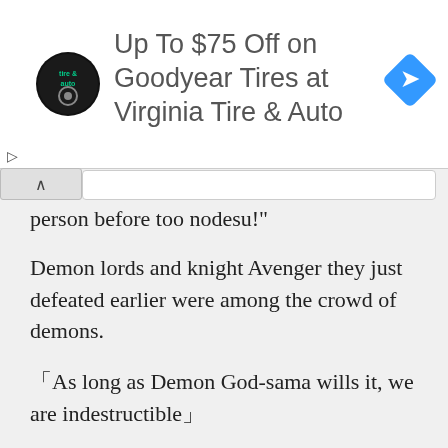[Figure (screenshot): Advertisement banner: circular tire & auto logo, text 'Up To $75 Off on Goodyear Tires at Virginia Tire & Auto', blue diamond navigation icon on right]
person before too nodesu!"
Demon lords and knight Avenger they just defeated earlier were among the crowd of demons.
「As long as Demon God-sama wills it, we are indestructible」
A demon lord bragged.
――Indestructible.